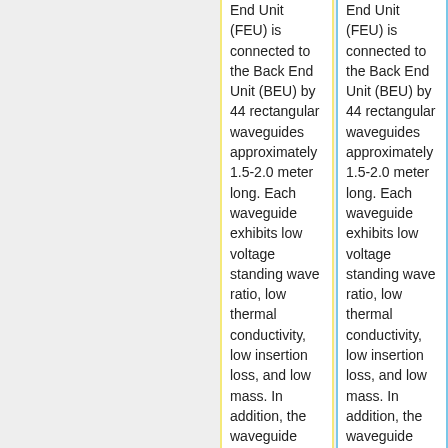End Unit (FEU) is connected to the Back End Unit (BEU) by 44 rectangular waveguides approximately 1.5-2.0 meter long. Each waveguide exhibits low voltage standing wave ratio, low thermal conductivity, low insertion loss, and low mass. In addition, the waveguide path shall permit the LFI/HFI integration and the electrical
End Unit (FEU) is connected to the Back End Unit (BEU) by 44 rectangular waveguides approximately 1.5-2.0 meter long. Each waveguide exhibits low voltage standing wave ratio, low thermal conductivity, low insertion loss, and low mass. In addition, the waveguide path shall permit the LFI/HFI integration and the electrical